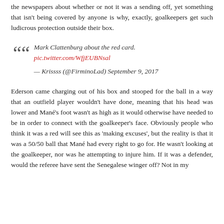the newspapers about whether or not it was a sending off, yet something that isn't being covered by anyone is why, exactly, goalkeepers get such ludicrous protection outside their box.
Mark Clattenburg about the red card. pic.twitter.com/WfjEUBNsal — Krissss (@FirminoLad) September 9, 2017
Ederson came charging out of his box and stooped for the ball in a way that an outfield player wouldn't have done, meaning that his head was lower and Mané's foot wasn't as high as it would otherwise have needed to be in order to connect with the goalkeeper's face. Obviously people who think it was a red will see this as 'making excuses', but the reality is that it was a 50/50 ball that Mané had every right to go for. He wasn't looking at the goalkeeper, nor was he attempting to injure him. If it was a defender, would the referee have sent the Senegalese winger off? Not in my